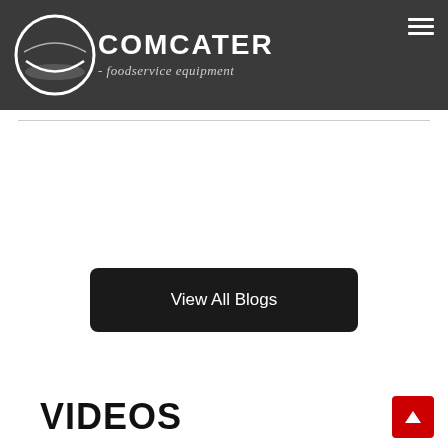[Figure (logo): Comcater foodservice equipment logo with circle icon and text on dark grey header background]
View All Blogs
VIDEOS